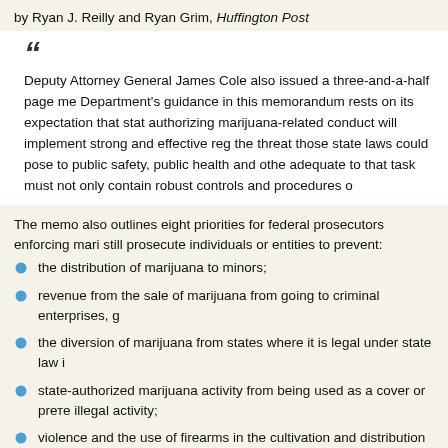by Ryan J. Reilly and Ryan Grim, Huffington Post
Deputy Attorney General James Cole also issued a three-and-a-half page me... Department's guidance in this memorandum rests on its expectation that stat... authorizing marijuana-related conduct will implement strong and effective reg... the threat those state laws could pose to public safety, public health and othe... adequate to that task must not only contain robust controls and procedures o...
The memo also outlines eight priorities for federal prosecutors enforcing mari... still prosecute individuals or entities to prevent:
the distribution of marijuana to minors;
revenue from the sale of marijuana from going to criminal enterprises, g...
the diversion of marijuana from states where it is legal under state law i...
state-authorized marijuana activity from being used as a cover or prете... illegal activity;
violence and the use of firearms in the cultivation and distribution of ma... other adverse public health consequences associated with marijuana u...
growing of marijuana on public lands and the attendant public safety an... production on public lands;
preventing marijuana possession or use on federal property.
The eight high-priority areas leave prosecutors bent on targeting marijuana b...